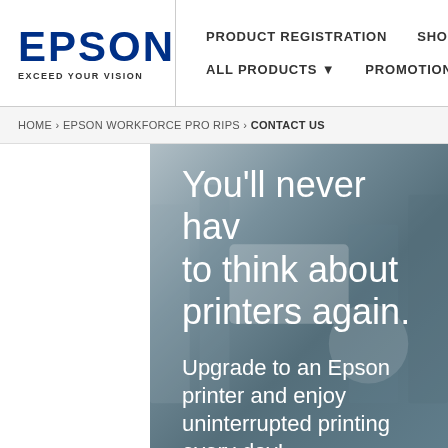[Figure (logo): Epson logo with wordmark EPSON in blue and tagline EXCEED YOUR VISION below]
PRODUCT REGISTRATION  SHOP ON
ALL PRODUCTS ▼  PROMOTIONS  C
HOME › EPSON WORKFORCE PRO RIPS › CONTACT US
[Figure (photo): Banner image with blurred printer/office background in blue-grey tones with large white text: You'll never have to think about printers again. Upgrade to an Epson printer and enjoy uninterrupted printing every day!]